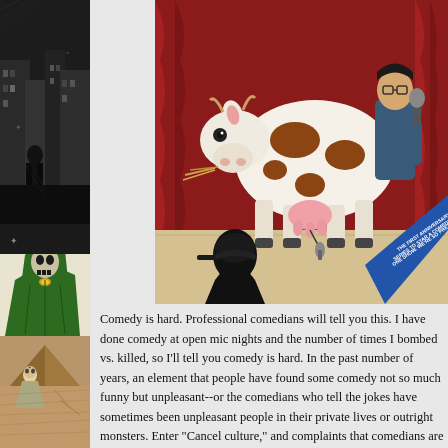[Figure (illustration): Left strip: three stacked comic book illustration panels. Top panel: black and white ink drawing of a figure on a dark city street with buildings. Middle panel: a robed green-cloaked figure with a skull-like face. Bottom panel: a tan/sepia colored scene with a figure near a pyramid structure.]
[Figure (illustration): Top right image: Comic book cover or interior art showing a person holding a microphone standing behind a cow on a stage with red curtain backdrop. A dark-haired figure is visible in the foreground audience. Blue diagonal banner text in bottom right corner reads promotional text about comedy show.]
Comedy is hard. Professional comedians will tell you this. I have done comedy at open mic nights and the number of times I bombed vs. killed, so I'll tell you comedy is hard. In the past number of years, an element that people have found some comedy not so much funny but unpleasant--or the comedians who tell the jokes have sometimes been unpleasant people in their private lives or outright monsters. Enter "Cancel culture," and complaints that comedians are getting hit by over sensitive and, "Woke," mobs that can't take a joke. All of this is covered in two issues of, "Snelson: Comedy is Dying," in a thoughtful